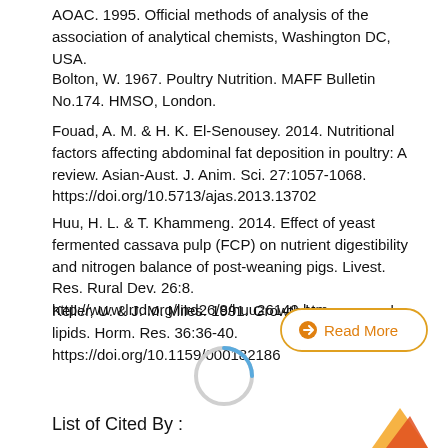AOAC. 1995. Official methods of analysis of the association of analytical chemists, Washington DC, USA.
Bolton, W. 1967. Poultry Nutrition. MAFF Bulletin No.174. HMSO, London.
Fouad, A. M. & H. K. El-Senousey. 2014. Nutritional factors affecting abdominal fat deposition in poultry: A review. Asian-Aust. J. Anim. Sci. 27:1057-1068. https://doi.org/10.5713/ajas.2013.13702
Huu, H. L. & T. Khammeng. 2014. Effect of yeast fermented cassava pulp (FCP) on nutrient digestibility and nitrogen balance of post-weaning pigs. Livest. Res. Rural Dev. 26:8. http://www.lrrd.org/lrrd26/8/huu26149.htm
Keller, U. & J. M. Miles. 1991. Growth hormone and lipids. Horm. Res. 36:36-40. https://doi.org/10.1159/000182186
[Figure (other): Read More button with orange border and arrow icon]
[Figure (other): Loading spinner (circular arc in blue/grey)]
List of Cited By :